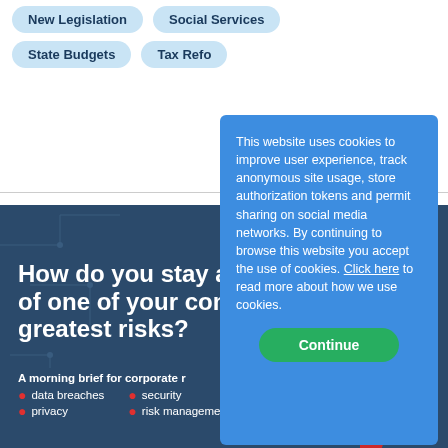New Legislation
Social Services
State Budgets
Tax Refo[rm]
[Figure (screenshot): Dark blue banner with headline: How do you stay ahead of one of your company's greatest risks? With a red button: Follow JD Supra's Cybersecurity channel]
A morning brief for corporate r[isk managers covering:]
data breaches
security
privacy
risk management
This website uses cookies to improve user experience, track anonymous site usage, store authorization tokens and permit sharing on social media networks. By continuing to browse this website you accept the use of cookies. Click here to read more about how we use cookies.
Continue